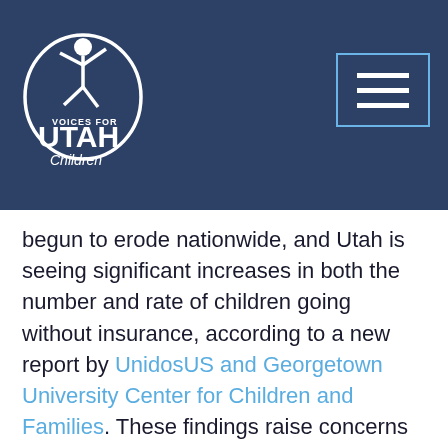Voices for Utah Children
begun to erode nationwide, and Utah is seeing significant increases in both the number and rate of children going without insurance, according to a new report by UnidosUS and Georgetown University Center for Children and Families. These findings raise concerns that many children may not be able to access the health care they need during the COVID-19 pandemic.
Utah’s rate of uninsured Latino children